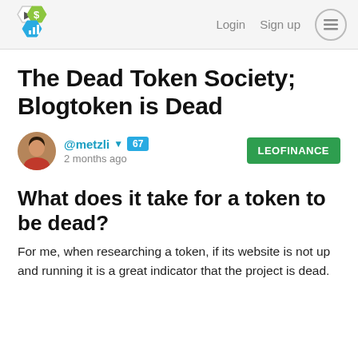Login  Sign up
The Dead Token Society; Blogtoken is Dead
@metzli  67  2 months ago  LEOFINANCE
What does it take for a token to be dead?
For me, when researching a token, if its website is not up and running it is a great indicator that the project is dead.